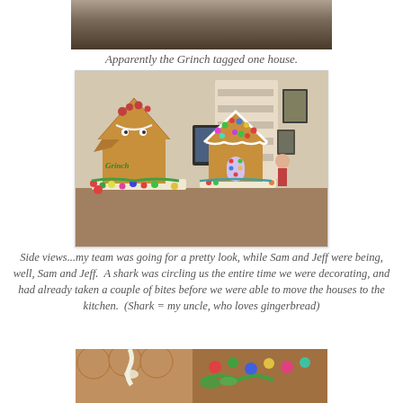[Figure (photo): Top portion of a photo, partially cropped, showing a dark background scene]
Apparently the Grinch tagged one house.
[Figure (photo): Two gingerbread houses side by side on a table. The left house is decorated to look like the Grinch with a face and 'Grinch' written in green icing, partially collapsed. The right house is neatly decorated with colorful candies and white icing trim. Background shows a living room with a TV and shelving unit.]
Side views...my team was going for a pretty look, while Sam and Jeff were being, well, Sam and Jeff.  A shark was circling us the entire time we were decorating, and had already taken a couple of bites before we were able to move the houses to the kitchen.  (Shark = my uncle, who loves gingerbread)
[Figure (photo): Bottom portion of a photo showing gingerbread pieces and colorful candy decorations on a surface, partially cropped at the bottom of the page.]